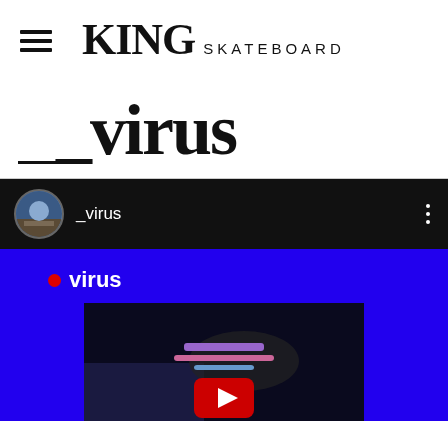KING SKATEBOARD
_virus
[Figure (screenshot): YouTube/social media video card with black header showing '_virus' channel name with circular avatar, and blue background with red dot live indicator labeled 'virus', with a dark video thumbnail below showing a skateboarding trick and YouTube play button]